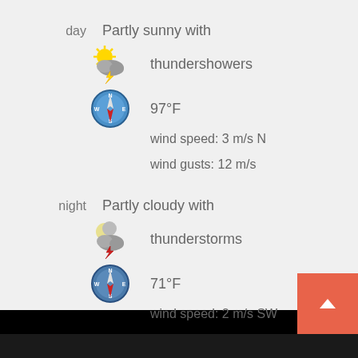day
Partly sunny with thundershowers
[Figure (illustration): Weather icon: sun with storm cloud and lightning bolt]
97°F
[Figure (illustration): Compass icon pointing north]
wind speed: 3 m/s N
wind gusts: 12 m/s
night
Partly cloudy with thunderstorms
[Figure (illustration): Weather icon: moon with cloud and lightning bolt]
71°F
[Figure (illustration): Compass icon pointing southwest]
wind speed: 2 m/s SW
wind gusts: 3 m/s